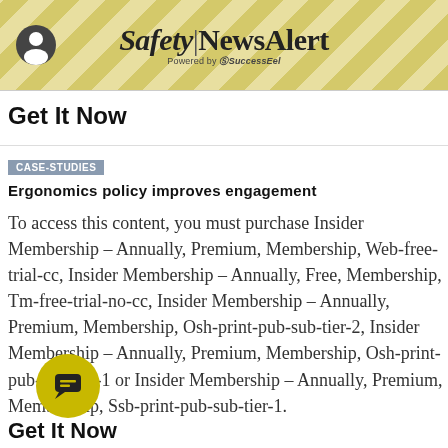Safety|NewsAlert Powered by SuccessEel
Get It Now
CASE-STUDIES
Ergonomics policy improves engagement
To access this content, you must purchase Insider Membership – Annually, Premium, Membership, Web-free-trial-cc, Insider Membership – Annually, Free, Membership, Tm-free-trial-no-cc, Insider Membership – Annually, Premium, Membership, Osh-print-pub-sub-tier-2, Insider Membership – Annually, Premium, Membership, Osh-print-pub-sub-tier-1 or Insider Membership – Annually, Premium, Membership, Ssb-print-pub-sub-tier-1.
Get It Now